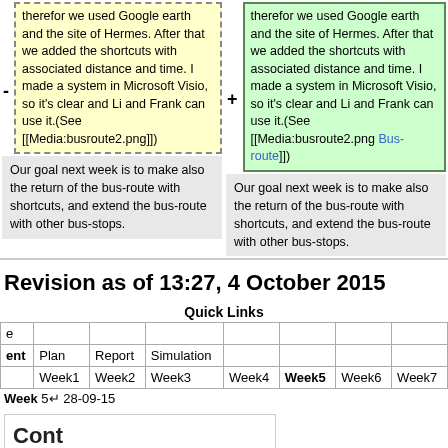therefor we used Google earth and the site of Hermes. After that we added the shortcuts with associated distance and time. I made a system in Microsoft Visio, so it's clear and Li and Frank can use it.(See [[Media:busroute2.png]])
therefor we used Google earth and the site of Hermes. After that we added the shortcuts with associated distance and time. I made a system in Microsoft Visio, so it's clear and Li and Frank can use it.(See [[Media:busroute2.png Bus-route]])
Our goal next week is to make also the return of the bus-route with shortcuts, and extend the bus-route with other bus-stops.
Our goal next week is to make also the return of the bus-route with shortcuts, and extend the bus-route with other bus-stops.
Revision as of 13:27, 4 October 2015
Quick Links
| e |  |  |  |  |  |  |  |
| --- | --- | --- | --- | --- | --- | --- | --- |
| ent | Plan | Report | Simulation |  |  |  |  |
|  | Week1 | Week2 | Week3 | Week4 | Week5 | Week6 | Week7 |
Week 5↵ 28-09-15
Content